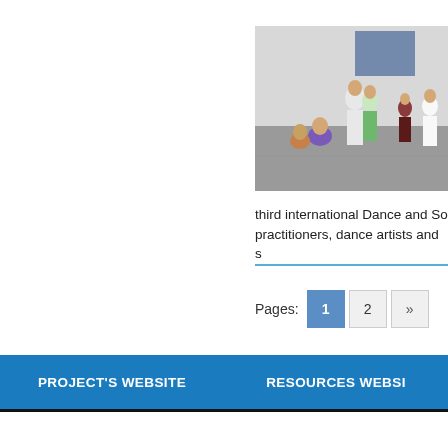[Figure (photo): Group of people gathered in a large room, some sitting on the floor, others standing, appearing to participate in a dance or movement workshop.]
third international Dance and So practitioners, dance artists and s
Pages: 1 2 »
PROJECT'S WEBSITE   RESOURCES WEBSI
PROJECT'S WEBSITE    RESOURCES WEBSI